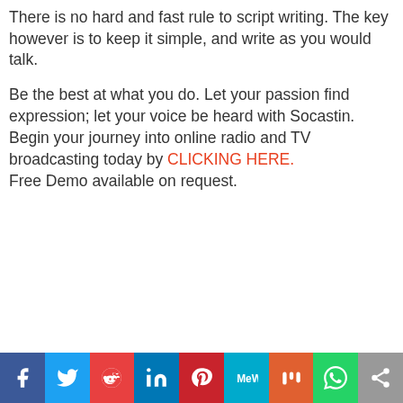There is no hard and fast rule to script writing. The key however is to keep it simple, and write as you would talk.
Be the best at what you do. Let your passion find expression; let your voice be heard with Socastin.
Begin your journey into online radio and TV broadcasting today by CLICKING HERE.
Free Demo available on request.
[Figure (infographic): Social media share bar with icons: Facebook, Twitter, Reddit, LinkedIn, Pinterest, MeWe, Mix, WhatsApp, Share]